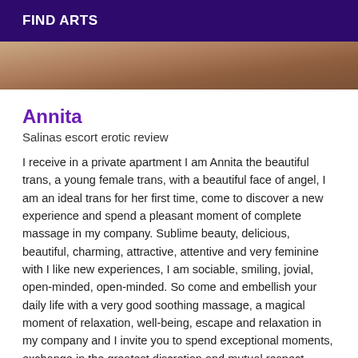FIND ARTS
[Figure (photo): Partial photo of a person, cropped showing skin tones in warm brown hues]
Annita
Salinas escort erotic review
I receive in a private apartment I am Annita the beautiful trans, a young female trans, with a beautiful face of angel, I am an ideal trans for her first time, come to discover a new experience and spend a pleasant moment of complete massage in my company. Sublime beauty, delicious, beautiful, charming, attractive, attentive and very feminine with I like new experiences, I am sociable, smiling, jovial, open-minded, open-minded. So come and embellish your daily life with a very good soothing massage, a magical moment of relaxation, well-being, escape and relaxation in my company and I invite you to spend exceptional moments, exchange in the greatest discretion and mutual respect. PRACTICAL: ACTIVE AND PASSIVE WITHOUT TABOO. FELATION